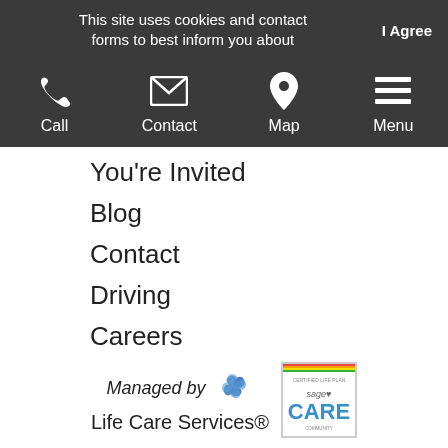This site uses cookies and contact forms to best inform you about
I Agree
[Figure (infographic): Navigation bar with four icons: Call (phone), Contact (envelope), Map (pin), Menu (hamburger lines)]
You're Invited
Blog
Contact
Driving
Careers
Updates: Covid-19
Managed by Life Care Services®
[Figure (logo): Life Care Services swirl logo]
[Figure (logo): Sage Care badge/certification logo]